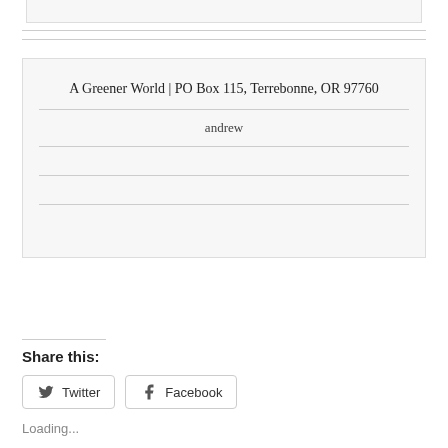A Greener World | PO Box 115, Terrebonne, OR 97760
andrew
Share this:
Twitter
Facebook
Loading...